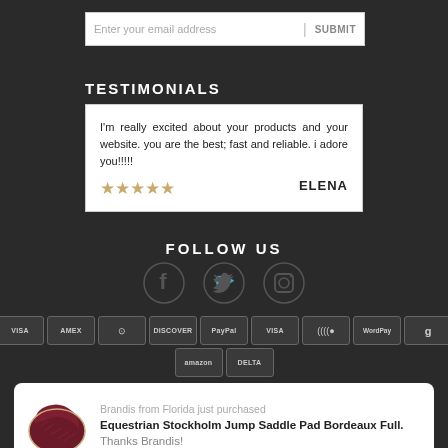Enter your email address | SUBMIT
TESTIMONIALS
I'm really excited about your products and your website. you are the best; fast and reliable. i adore you!!!!! ★★★★★  ELENA
FOLLOW US
[Figure (illustration): Social media icons: Facebook, Twitter, Instagram]
[Figure (illustration): Payment method icons: VISA, AMEX, Mastercard, DISCOVER, PayPal, VISA, and others including Amazon, Delta]
Brandis from Florida just purchased Equestrian Stockholm Jump Saddle Pad Bordeaux Full. Thanks Brandis!